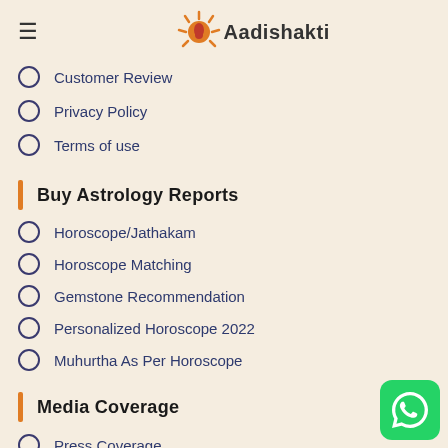Aadishakti
Customer Review
Privacy Policy
Terms of use
Buy Astrology Reports
Horoscope/Jathakam
Horoscope Matching
Gemstone Recommendation
Personalized Horoscope 2022
Muhurtha As Per Horoscope
Media Coverage
Press Coverage
Follow Us
[Figure (logo): WhatsApp button icon, green rounded square with white phone icon]